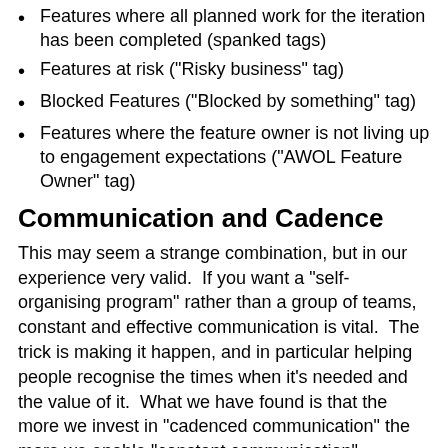Features where all planned work for the iteration has been completed (spanked tags)
Features at risk ("Risky business" tag)
Blocked Features ("Blocked by something" tag)
Features where the feature owner is not living up to engagement expectations ("AWOL Feature Owner" tag)
Communication and Cadence
This may seem a strange combination, but in our experience very valid.  If you want a "self-organising program" rather than a group of teams, constant and effective communication is vital.  The trick is making it happen, and in particular helping people recognise the times when it's needed and the value of it.  What we have found is that the more we invest in "cadenced communication" the more we enable "constant communication".
At the time of writing, 2 primary forms of cadenced communication are well-established and 3 are in their formative stages: